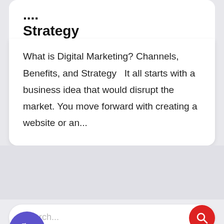Strategy
What is Digital Marketing? Channels, Benefits, and Strategy  It all starts with a business idea that would disrupt the market. You move forward with creating a website or an...
[Figure (screenshot): Search bar with placeholder text 'Search...' and a red circular search icon button, a purple phone icon button, a white scroll-to-top button, and a blue chat button]
Recent Posts